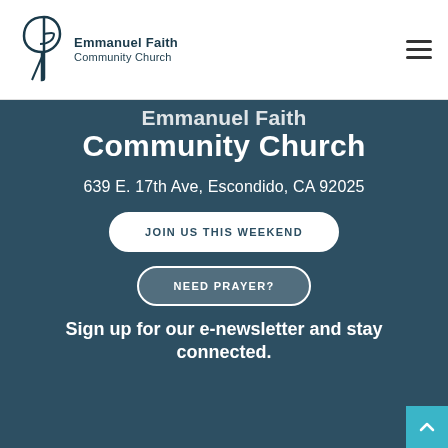[Figure (logo): Emmanuel Faith Community Church logo with stylized P/cross icon and text]
Emmanuel Faith Community Church
639 E. 17th Ave, Escondido, CA 92025
JOIN US THIS WEEKEND
NEED PRAYER?
Sign up for our e-newsletter and stay connected.